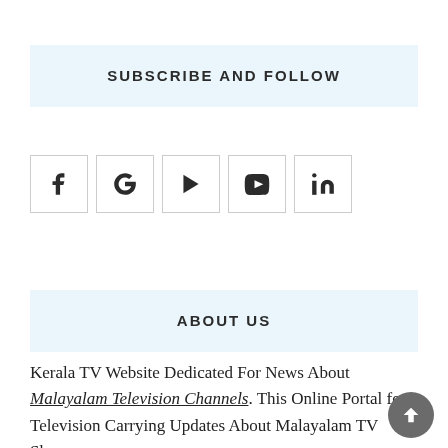SUBSCRIBE AND FOLLOW
[Figure (infographic): Row of 5 social media icon buttons: Facebook, Google, Play Store, YouTube, LinkedIn]
ABOUT US
Kerala TV Website Dedicated For News About Malayalam Television Channels. This Online Portal for Television Carrying Updates About Malayalam TV Shows